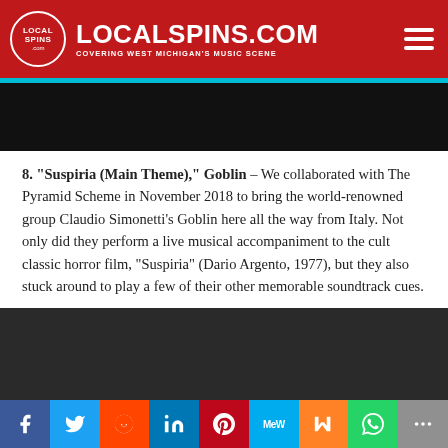LOCALSPINS.COM — COVERING WEST MICHIGAN'S MUSIC SCENE
[Figure (screenshot): Black video embed area at top]
8. “Suspiria (Main Theme),” Goblin – We collaborated with The Pyramid Scheme in November 2018 to bring the world-renowned group Claudio Simonetti’s Goblin here all the way from Italy. Not only did they perform a live musical accompaniment to the cult classic horror film, “Suspiria” (Dario Argento, 1977), but they also stuck around to play a few of their other memorable soundtrack cues.
[Figure (screenshot): Dark video embed with age-restriction message: 'This video is age-restricted and only available on YouTube. Learn more']
Social share bar: Facebook, Twitter, Reddit, LinkedIn, Pinterest, MeWe, Mix, WhatsApp, More